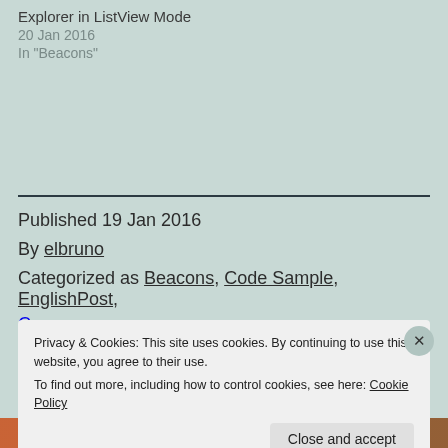Explorer in ListView mode
20 Jan 2016
In "Beacons"
Published 19 Jan 2016
By elbruno
Categorized as Beacons, Code Sample, EnglishPost,
Privacy & Cookies: This site uses cookies. By continuing to use this website, you agree to their use.
To find out more, including how to control cookies, see here: Cookie Policy
Close and accept